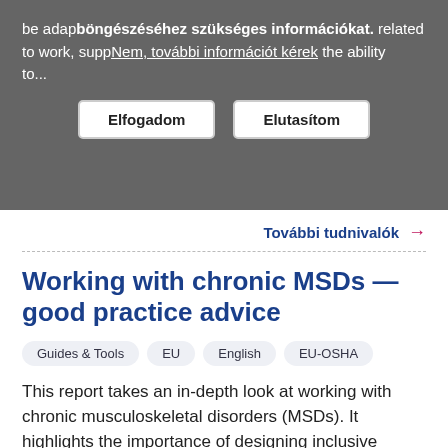be adapted... böngészéséhez szükséges információkat. related to work, supp... Nem, további információt kérek the ability to...
Elfogadom   Elutasítom
További tudnivalók →
Working with chronic MSDs — good practice advice
Guides & Tools   EU   English   EU-OSHA
This report takes an in-depth look at working with chronic musculoskeletal disorders (MSDs). It highlights the importance of designing inclusive workplaces and sets out principles for managing chronic MSDs, with prevention, early intervention, and effective, participative rehabilitation and return...